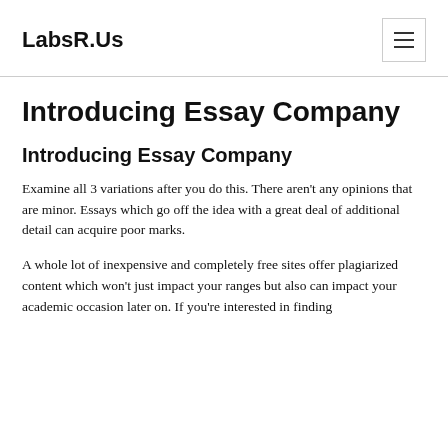LabsR.Us
Introducing Essay Company
Introducing Essay Company
Examine all 3 variations after you do this. There aren’t any opinions that are minor. Essays which go off the idea with a great deal of additional detail can acquire poor marks.
A whole lot of inexpensive and completely free sites offer plagiarized content which won’t just impact your ranges but also can impact your academic occasion later on. If you’re interested in finding